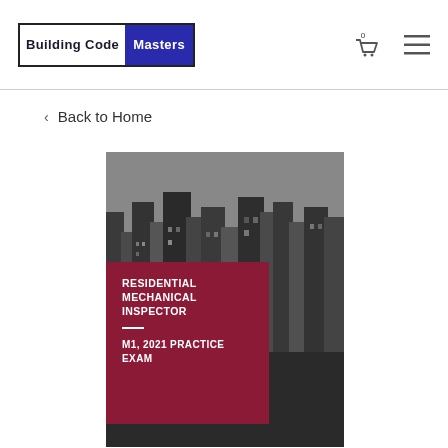Building Code Masters
< Back to Home
[Figure (illustration): Book cover for 'Residential Mechanical Inspector – M1, 2021 Practice Exam' published by Building Code Masters. The cover shows a grayscale city skyline photograph with a dark crimson/maroon rectangular panel overlaid on the lower-left portion containing the title text in white uppercase letters.]